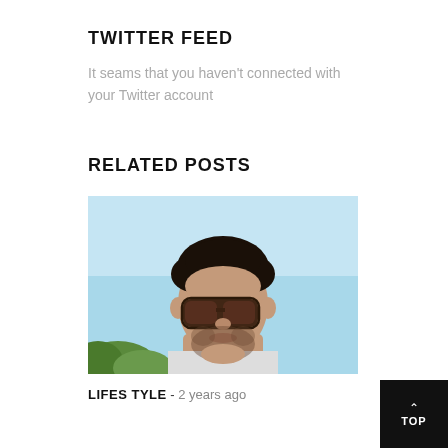TWITTER FEED
It seams that you haven't connected with your Twitter account
RELATED POSTS
[Figure (photo): Portrait photo of a young man with dark curly hair and sunglasses, light blue sky background, with some green foliage in lower left corner.]
LIFES TYLE - 2 years ago